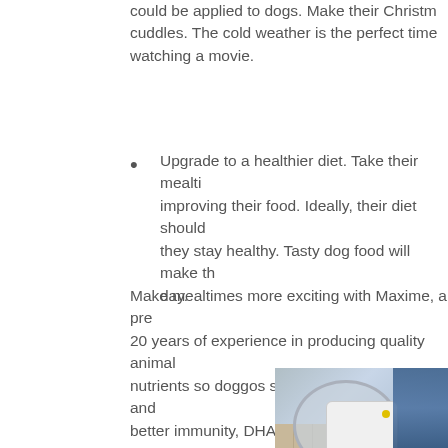could be applied to dogs. Make their Christmas special with cuddles. The cold weather is the perfect time for watching a movie.
Upgrade to a healthier diet. Take their mealtime to the next level by improving their food. Ideally, their diet should have the right nutrients so they stay healthy. Tasty dog food will make them look forward to every day.
Make mealtimes more exciting with Maxime, a premium pet food brand with 20 years of experience in producing quality animal food. It's packed with nutrients so doggos stay happy, active, tough, and beautiful. It has zinc for better immunity, DHA for a sharper mind, and Omega 3 & 6 for healthy skin and fur.
[Figure (photo): Photo of a dog food bowl with a white package labeled Maxime, on a tiled surface with blue packaging in the background]